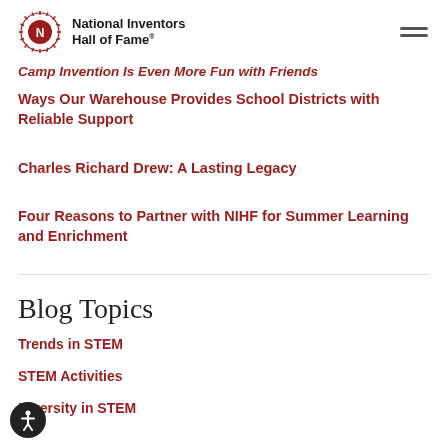National Inventors Hall of Fame
Camp Invention Is Even More Fun with Friends
Ways Our Warehouse Provides School Districts with Reliable Support
Charles Richard Drew: A Lasting Legacy
Four Reasons to Partner with NIHF for Summer Learning and Enrichment
Blog Topics
Trends in STEM
STEM Activities
Diversity in STEM